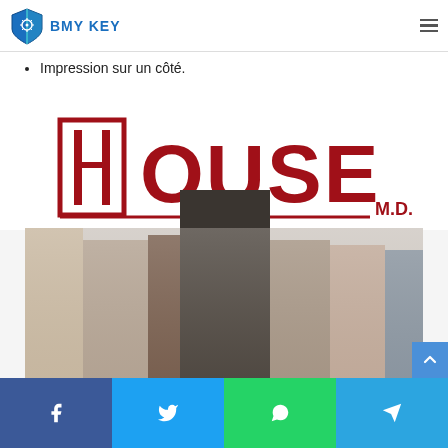BMY KEY
Impression sur un côté.
[Figure (illustration): House M.D. Season Eight promotional image with the show logo in red on white background and cast photo below]
Social share bar: Facebook, Twitter, WhatsApp, Telegram